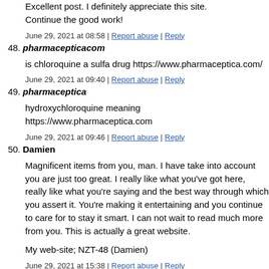Excellent post. I definitely appreciate this site. Continue the good work!
June 29, 2021 at 08:58 | Report abuse | Reply
48. pharmacepticacom
is chloroquine a sulfa drug https://www.pharmaceptica.com/
June 29, 2021 at 09:40 | Report abuse | Reply
49. pharmaceptica
hydroxychloroquine meaning https://www.pharmaceptica.com
June 29, 2021 at 09:46 | Report abuse | Reply
50. Damien
Magnificent items from you, man. I have take into account you are just too great. I really like what you've got here, really like what you're saying and the best way through which you assert it. You're making it entertaining and you continue to care for to stay it smart. I can not wait to read much more from you. This is actually a great website.
My web-site; NZT-48 (Damien)
June 29, 2021 at 15:38 | Report abuse | Reply